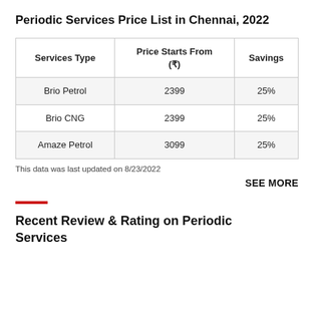Periodic Services Price List in Chennai, 2022
| Services Type | Price Starts From (₹) | Savings |
| --- | --- | --- |
| Brio Petrol | 2399 | 25% |
| Brio CNG | 2399 | 25% |
| Amaze Petrol | 3099 | 25% |
This data was last updated on 8/23/2022
SEE MORE
Recent Review & Rating on Periodic Services